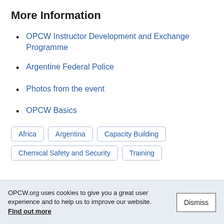More Information
OPCW Instructor Development and Exchange Programme
Argentine Federal Police
Photos from the event
OPCW Basics
Africa | Argentina | Capacity Building | Chemical Safety and Security | Training
OPCW.org uses cookies to give you a great user experience and to help us to improve our website. Find out more   Dismiss